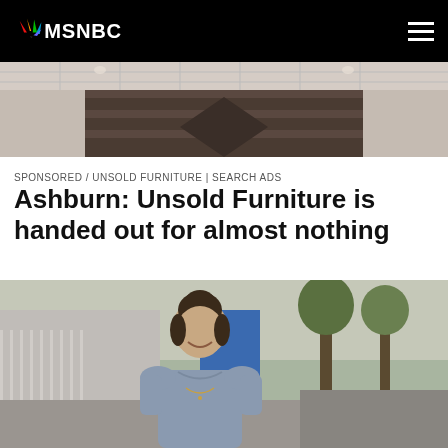MSNBC
[Figure (photo): MSNBC building exterior with brick facade and geometric design]
SPONSORED / UNSOLD FURNITURE | SEARCH ADS
Ashburn: Unsold Furniture is handed out for almost nothing
[Figure (photo): Young woman with dark hair in an updo, wearing a light blue/grey fitted top, smiling outdoors near a building and trees]